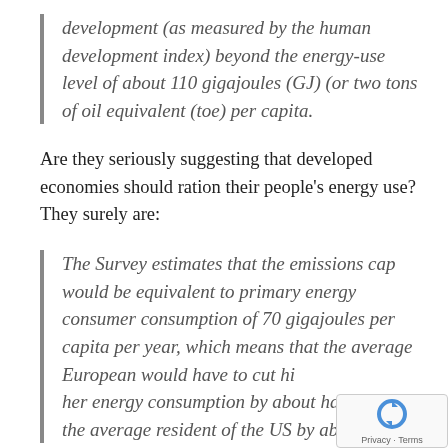development (as measured by the human development index) beyond the energy-use level of about 110 gigajoules (GJ) (or two tons of oil equivalent (toe) per capita.
Are they seriously suggesting that developed economies should ration their people's energy use? They surely are:
The Survey estimates that the emissions cap would be equivalent to primary energy consumer consumption of 70 gigajoules per capita per year, which means that the average European would have to cut his her energy consumption by about half or the average resident of the US by about